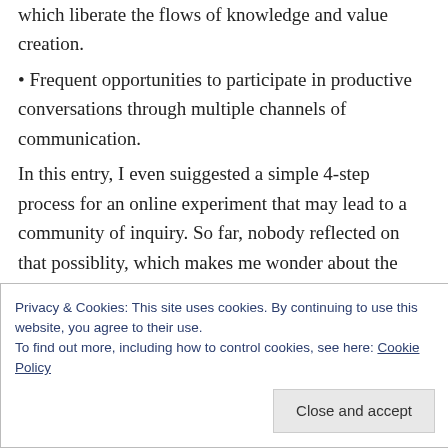which liberate the flows of knowledge and value creation.
• Frequent opportunities to participate in productive conversations through multiple channels of communication.
In this entry, I even suiggested a simple 4-step process for an online experiment that may lead to a community of inquiry. So far, nobody reflected on that possiblity, which makes me wonder about the why; is it the lack of clarity in my entry or the usual consequece of our
Privacy & Cookies: This site uses cookies. By continuing to use this website, you agree to their use.
To find out more, including how to control cookies, see here: Cookie Policy